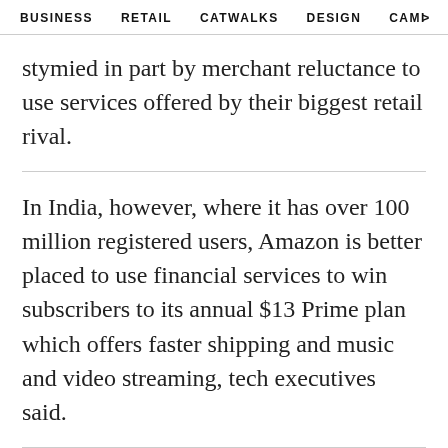BUSINESS   RETAIL   CATWALKS   DESIGN   CAMI  >
stymied in part by merchant reluctance to use services offered by their biggest retail rival.
In India, however, where it has over 100 million registered users, Amazon is better placed to use financial services to win subscribers to its annual $13 Prime plan which offers faster shipping and music and video streaming, tech executives said.
To that end, the company aspires to make Amazon Pay the country's payment method of choice, said Mahendra Nerurkar, head of Amazon Pay in India, which has signed up 4 million merchants.